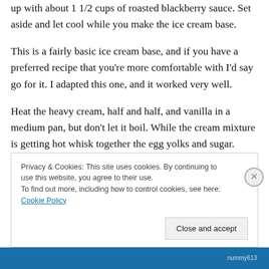up with about 1 1/2 cups of roasted blackberry sauce. Set aside and let cool while you make the ice cream base.
This is a fairly basic ice cream base, and if you have a preferred recipe that you're more comfortable with I'd say go for it.  I adapted this one, and it worked very well.
Heat the heavy cream, half and half, and vanilla in a medium pan, but don't let it boil.  While the cream mixture is getting hot whisk together the egg yolks and sugar.  They should get much lighter in color and fluffier in volume. Once the cream has gotten nice and hot slowly
Privacy & Cookies: This site uses cookies. By continuing to use this website, you agree to their use.
To find out more, including how to control cookies, see here: Cookie Policy